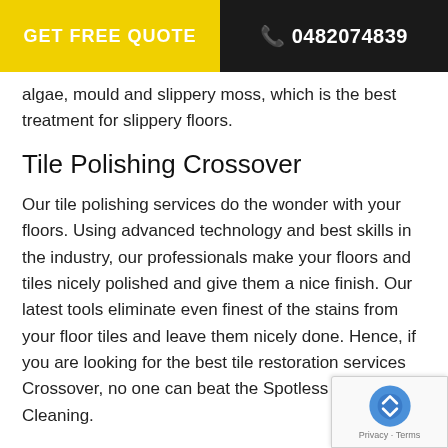GET FREE QUOTE | 0482074839
algae, mould and slippery moss, which is the best treatment for slippery floors.
Tile Polishing Crossover
Our tile polishing services do the wonder with your floors. Using advanced technology and best skills in the industry, our professionals make your floors and tiles nicely polished and give them a nice finish. Our latest tools eliminate even finest of the stains from your floor tiles and leave them nicely done. Hence, if you are looking for the best tile restoration services Crossover, no one can beat the Spotless Tile Cleaning.
Get Rid of Bacteria, Harmful Germs & Mould from your Tiled Floors